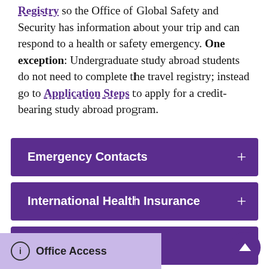Registry so the Office of Global Safety and Security has information about your trip and can respond to a health or safety emergency. One exception: Undergraduate study abroad students do not need to complete the travel registry; instead go to Application Steps to apply for a credit-bearing study abroad program.
Emergency Contacts
International Health Insurance
Announcements
Office Access